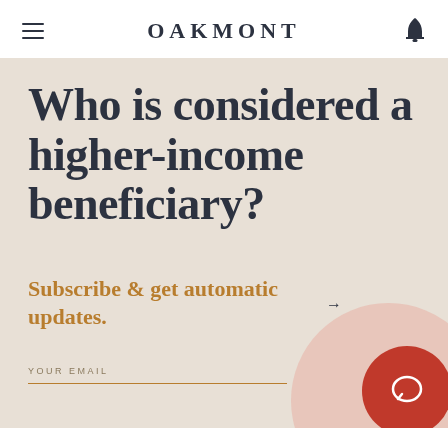OAKMONT
Who is considered a higher-income beneficiary?
Subscribe & get automatic updates.
YOUR EMAIL